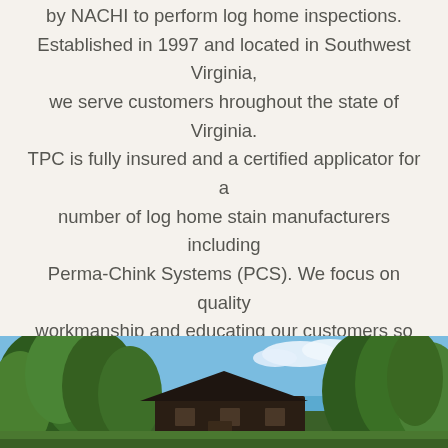by NACHI to perform log home inspections. Established in 1997 and located in Southwest Virginia, we serve customers hroughout the state of Virginia. TPC is fully insured and a certified applicator for a number of log home stain manufacturers including Perma-Chink Systems (PCS). We focus on quality workmanship and educating our customers so that they can make the best decisions about their log home. Contact TPC and let us help you preserve your dream.
READ MORE
[Figure (photo): Exterior photo of a log home or cabin surrounded by green trees with a blue sky and white clouds visible in the background. The building appears to be a dark-colored structure partially obscured by the trees.]